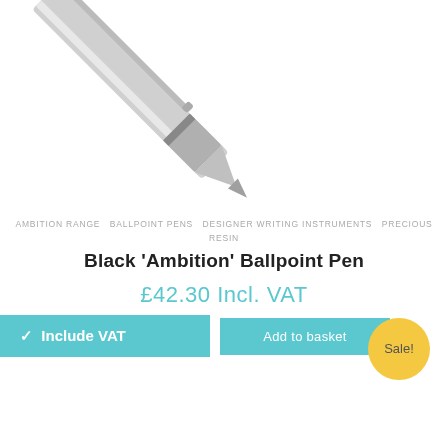[Figure (photo): Tip and clip of a silver/grey ballpoint pen shown diagonally from top-left corner]
AMBITION RANGE  BALLPOINT PENS  DESIGNER WRITING INSTRUMENTS  PRECIOUS RESIN
Black 'Ambition' Ballpoint Pen
£42.30 Incl. VAT
✓  Include VAT
Add to basket
Sale!